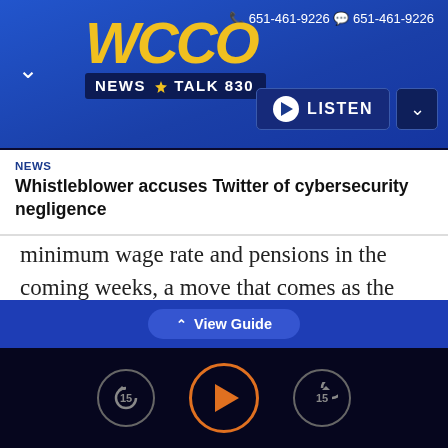[Figure (screenshot): WCCO News Talk 830 radio station mobile app header with yellow WCCO logo on blue background, contact numbers 651-461-9226, and a LISTEN button]
NEWS
Whistleblower accuses Twitter of cybersecurity negligence
minimum wage rate and pensions in the coming weeks, a move that comes as the Russian economy faces an unprecedented wave of international sanctions.
Putin said in a government meeting that the
[Figure (screenshot): Mobile audio player controls with rewind 15, play button with orange circle border, and forward 15 buttons, plus View Guide tab above]